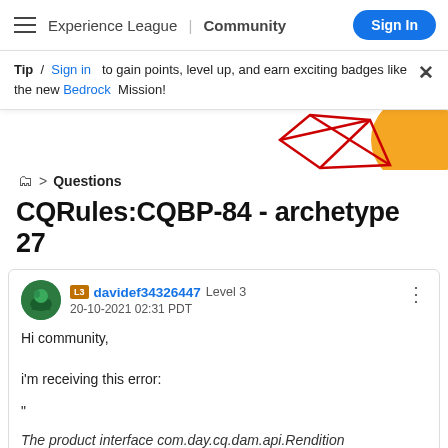Experience League | Community  Sign In
Tip / Sign in to gain points, level up, and earn exciting badges like the new Bedrock Mission!
[Figure (illustration): Decorative geometric illustration with red polygonal outlines and orange circle on the right side]
📁 > Questions
CQRules:CQBP-84 - archetype 27
davidef34326447  Level 3
20-10-2021 02:31 PDT
Hi community,
i'm receiving this error:
"
The product interface com.day.cq.dam.api.Rendition